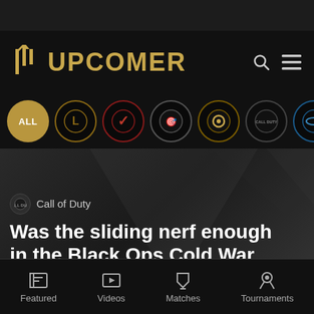[Figure (logo): Upcomer website logo with golden pillar icon and UPCOMER text in gold]
[Figure (screenshot): Game filter row showing circular icons: ALL, League of Legends, Valorant, CS:GO, Overwatch, Call of Duty, Halo, Dota 2, Apex Legends, Rocket League]
Call of Duty
Was the sliding nerf enough in the Black Ops Cold War
[Figure (infographic): Bottom navigation bar with Featured, Videos, Matches, Tournaments icons]